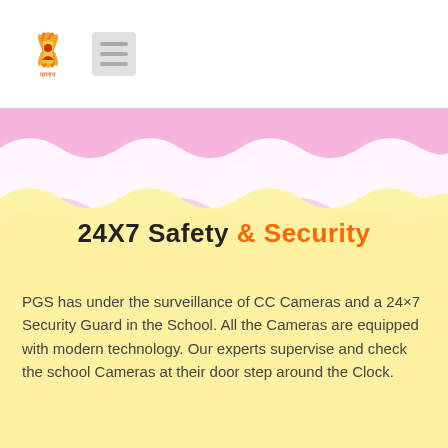[Figure (logo): Pranam school lotus logo with Sanskrit text below, and hamburger menu icon to the right]
[Figure (illustration): Decorative wave background transitioning from pink/purple at top to yellow/cream at bottom]
24X7 Safety & Security
PGS has under the surveillance of CC Cameras and a 24×7 Security Guard in the School. All the Cameras are equipped with modern technology. Our experts supervise and check the school Cameras at their door step around the Clock.